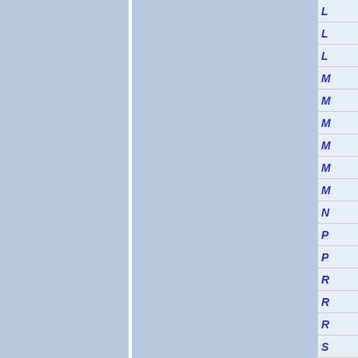[Figure (other): Navigation index panel on the right side showing alphabetical index letters L, L, L, M, M, M, M, M, M, N, P, P, R, R, R, S in blue italic text on a light gray background, with blue-gray panels on the left]
L
L
L
M
M
M
M
M
M
N
P
P
R
R
R
S